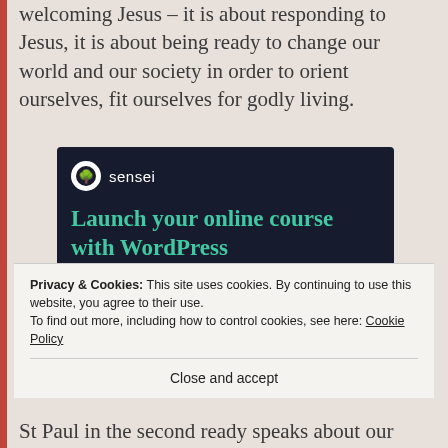welcoming Jesus – it is about responding to Jesus, it is about being ready to change our world and our society in order to orient ourselves, fit ourselves for godly living.
[Figure (infographic): Sensei advertisement banner with dark navy background. Shows Sensei logo (bonsai tree icon in white circle) and brand name, headline 'Launch your online course with WordPress' in teal/green color, and a 'Learn More' button in teal/green rounded rectangle.]
Privacy & Cookies: This site uses cookies. By continuing to use this website, you agree to their use.
To find out more, including how to control cookies, see here: Cookie Policy
Close and accept
St Paul in the second ready speaks about our